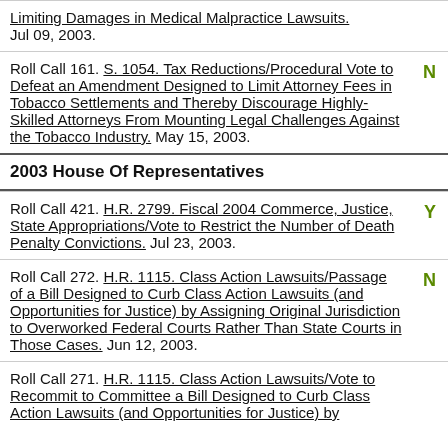Roll Call [prev]. Limiting Damages in Medical Malpractice Lawsuits. Jul 09, 2003.
Roll Call 161. S. 1054. Tax Reductions/Procedural Vote to Defeat an Amendment Designed to Limit Attorney Fees in Tobacco Settlements and Thereby Discourage Highly-Skilled Attorneys From Mounting Legal Challenges Against the Tobacco Industry. May 15, 2003. Vote: N
2003 House Of Representatives
Roll Call 421. H.R. 2799. Fiscal 2004 Commerce, Justice, State Appropriations/Vote to Restrict the Number of Death Penalty Convictions. Jul 23, 2003. Vote: Y
Roll Call 272. H.R. 1115. Class Action Lawsuits/Passage of a Bill Designed to Curb Class Action Lawsuits (and Opportunities for Justice) by Assigning Original Jurisdiction to Overworked Federal Courts Rather Than State Courts in Those Cases. Jun 12, 2003. Vote: N
Roll Call 271. H.R. 1115. Class Action Lawsuits/Vote to Recommit to Committee a Bill Designed to Curb Class Action Lawsuits (and Opportunities for Justice) by